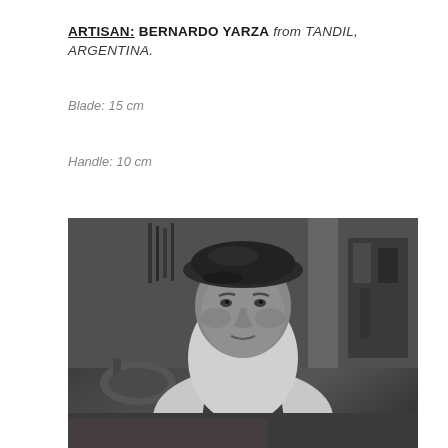ARTISAN: BERNARDO YARZA from TANDIL, ARGENTINA.
Blade: 15 cm
Handle: 10 cm
[Figure (photo): Black and white photograph of Bernardo Yarza, a middle-aged man wearing a dark beret cap and a dark apron over a white shirt, seated in a workshop with tools, machinery, and a lamp visible in the background.]